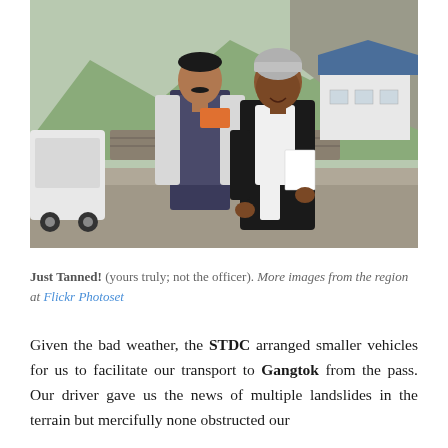[Figure (photo): Two men posing for a photo outdoors in a mountainous region. The man on the left wears a plaid vest over a light shirt with no hat. The man on the right wears a grey beanie, black jacket, and a white scarf, holding papers. In the background are rocky hills, a white building with a blue roof, construction equipment, and a white SUV on the left.]
Just Tanned! (yours truly; not the officer). More images from the region at Flickr Photoset
Given the bad weather, the STDC arranged smaller vehicles for us to facilitate our transport to Gangtok from the pass. Our driver gave us the news of multiple landslides in the terrain but mercifully none obstructed our